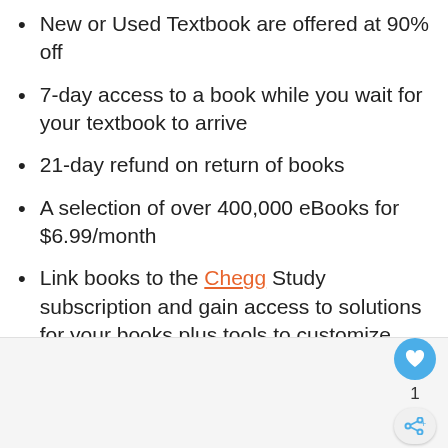New or Used Textbook are offered at 90% off
7-day access to a book while you wait for your textbook to arrive
21-day refund on return of books
A selection of over 400,000 eBooks for $6.99/month
Link books to the Chegg Study subscription and gain access to solutions for your books plus tools to customize your courses